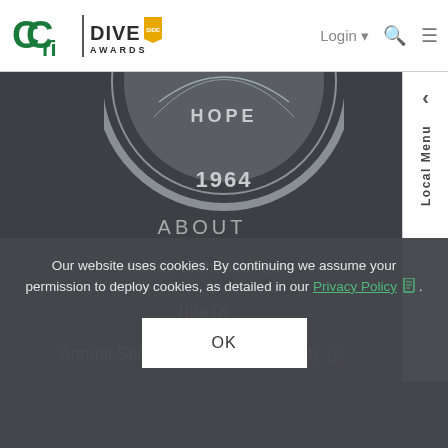[Figure (logo): CCRI logo with Dive Awards badge and navigation bar with Login, search, and menu icons]
[Figure (illustration): College seal showing HOPE and 1964, partially visible at top of dark section]
ABOUT
Mission of the College
Title IX
Annual Security Report (Clery Act)
Our website uses cookies. By continuing we assume your permission to deploy cookies, as detailed in our Privacy Policy.
OK